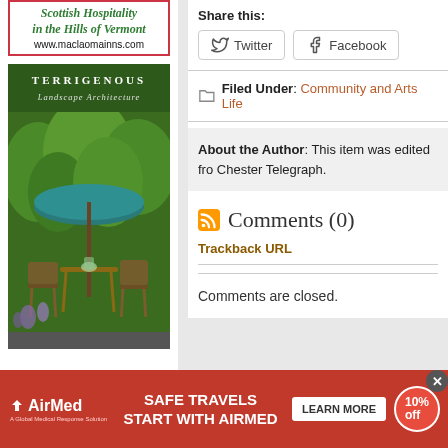[Figure (advertisement): Scottish Hospitality in the Hills of Vermont ad with www.maclaomainns.com URL, red border]
[Figure (photo): TERRIGENOUS Landscape Architecture advertisement showing outdoor garden seating area with umbrella and chairs]
Share this:
[Figure (other): Twitter share button]
[Figure (other): Facebook share button]
Filed Under: Community and Arts Life
About the Author: This item was edited from Chester Telegraph.
Comments (0)
Trackback URL
Comments are closed.
[Figure (advertisement): AirMed banner ad: SAFE TRAVELS START WITH AIRMED, LEARN MORE button, 10% off badge, people photo]